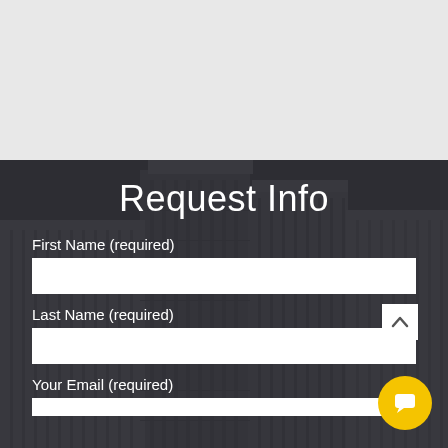[Figure (photo): Aerial view of dark city buildings rendered in grayscale with a dark overlay, used as background for a request info form]
Request Info
First Name (required)
Last Name (required)
Your Email (required)